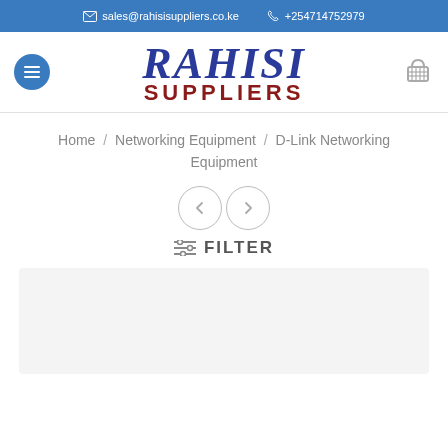sales@rahisisuppliers.co.ke   +254714752979
[Figure (logo): Rahisi Suppliers logo with blue RAHISI text and dark red SUPPLIERS text]
Home / Networking Equipment / D-Link Networking Equipment
[Figure (other): Previous and Next navigation arrow circles]
FILTER
[Figure (other): Gray product listing area placeholder]